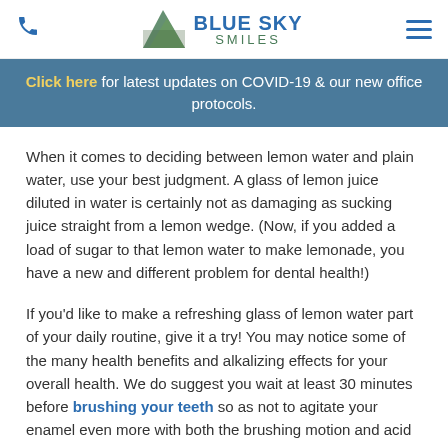Blue Sky Smiles — phone icon, logo, hamburger menu
Click here for latest updates on COVID-19 & our new office protocols.
When it comes to deciding between lemon water and plain water, use your best judgment. A glass of lemon juice diluted in water is certainly not as damaging as sucking juice straight from a lemon wedge. (Now, if you added a load of sugar to that lemon water to make lemonade, you have a new and different problem for dental health!)
If you'd like to make a refreshing glass of lemon water part of your daily routine, give it a try! You may notice some of the many health benefits and alkalizing effects for your overall health. We do suggest you wait at least 30 minutes before brushing your teeth so as not to agitate your enamel even more with both the brushing motion and acid content…